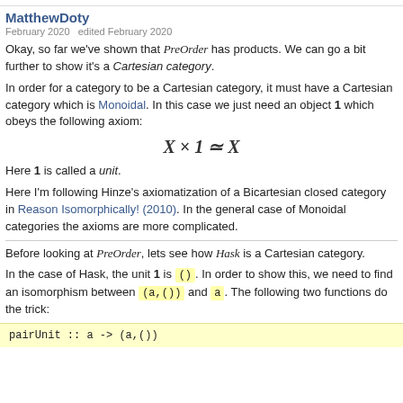[...category theory discussion...]
MatthewDoty
February 2020   edited February 2020
Okay, so far we've shown that PreOrder has products. We can go a bit further to show it's a Cartesian category.
In order for a category to be a Cartesian category, it must have a Cartesian category which is Monoidal. In this case we just need an object 1 which obeys the following axiom:
Here 1 is called a unit.
Here I'm following Hinze's axiomatization of a Bicartesian closed category in Reason Isomorphically! (2010). In the general case of Monoidal categories the axioms are more complicated.
Before looking at PreOrder, lets see how Hask is a Cartesian category.
In the case of Hask, the unit 1 is () . In order to show this, we need to find an isomorphism between (a,()) and a . The following two functions do the trick:
pairUnit :: a -> (a,())